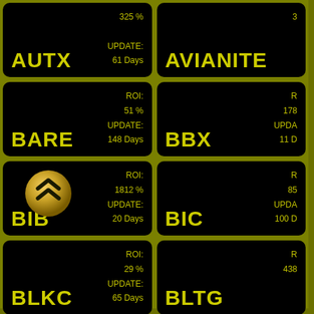AUTX | UPDATE: 61 Days | ROI: 325%
AVIANITE
BARE | ROI: 51% | UPDATE: 148 Days
BBX | ROI: 178 | UPDATE: 11 D
BIB | ROI: 1812% | UPDATE: 20 Days
BIC | ROI: 85 | UPDATE: 100 D
BLKC | ROI: 29% | UPDATE: 65 Days
BLTG | ROI: 438